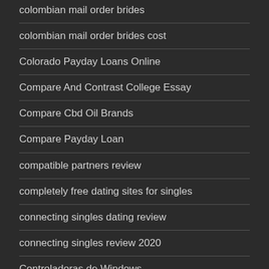colombian mail order brides
colombian mail order brides cost
Colorado Payday Loans Online
Compare And Contrast College Essay
Compare Cbd Oil Brands
Compare Payday Loan
compatible partners review
completely free dating sites for singles
connecting singles dating review
connecting singles review 2020
Controladoras de Windows